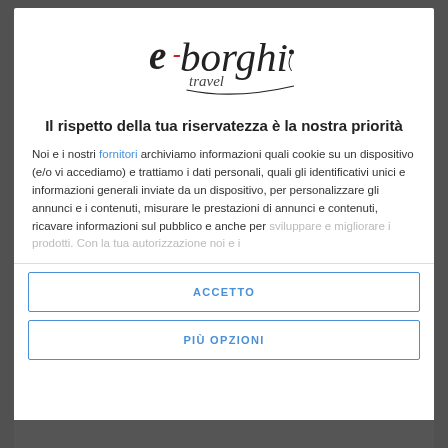[Figure (logo): e-borghi travel logo in black handwritten script with red accent on the 'e']
Il rispetto della tua riservatezza è la nostra priorità
Noi e i nostri fornitori archiviamo informazioni quali cookie su un dispositivo (e/o vi accediamo) e trattiamo i dati personali, quali gli identificativi unici e informazioni generali inviate da un dispositivo, per personalizzare gli annunci e i contenuti, misurare le prestazioni di annunci e contenuti, ricavare informazioni sul pubblico e anche per sviluppare e migliorare i prodotti. Con la tua autorizzazione noi e i
ACCETTO
PIÙ OPZIONI